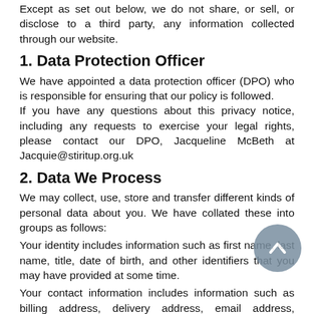Except as set out below, we do not share, or sell, or disclose to a third party, any information collected through our website.
1. Data Protection Officer
We have appointed a data protection officer (DPO) who is responsible for ensuring that our policy is followed. If you have any questions about this privacy notice, including any requests to exercise your legal rights, please contact our DPO, Jacqueline McBeth at Jacquie@stiritup.org.uk
2. Data We Process
We may collect, use, store and transfer different kinds of personal data about you. We have collated these into groups as follows:
Your identity includes information such as first name, last name, title, date of birth, and other identifiers that you may have provided at some time.
Your contact information includes information such as billing address, delivery address, email address, telephone numbers and any other information you have given to us for the